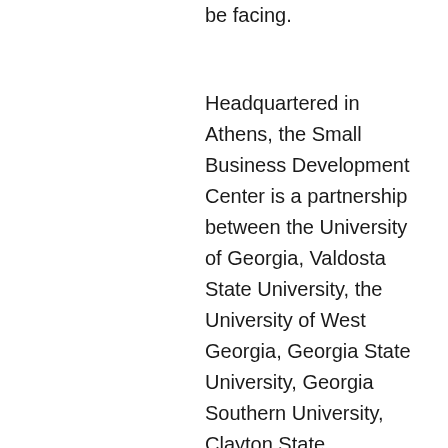be facing.
Headquartered in Athens, the Small Business Development Center is a partnership between the University of Georgia, Valdosta State University, the University of West Georgia, Georgia State University, Georgia Southern University, Clayton State University, and Kennesaw State University. It is funded in part through a cooperative agreement with the United States Small Business Administration, boasts 17 offices across the state, and strives to enhance the economic well-being of Georgians by providing a wide range of educational services for small business